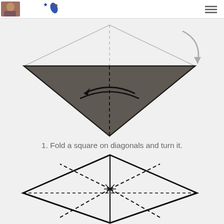[Figure (illustration): Origami folding step 1a: A diamond-shaped square paper with dashed fold lines showing diagonals and a rotation arrow indicating to turn the paper. Below it is a dark shaded downward-pointing triangle with a curved arrow showing fold direction and a vertical dashed center line.]
1. Fold a square on diagonals and turn it.
[Figure (illustration): Origami folding step 1b: A star/diamond shape with thick black outline showing a folded square rotated, with solid and dashed fold lines radiating from center indicating multiple crease lines.]